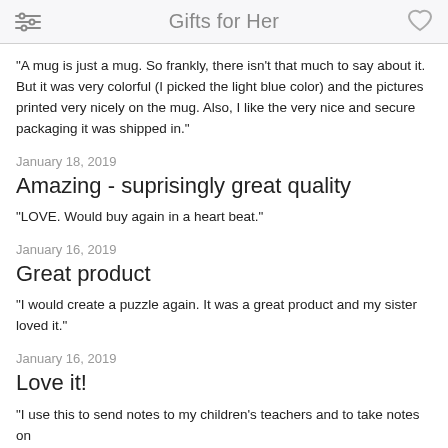Gifts for Her
"A mug is just a mug. So frankly, there isn't that much to say about it. But it was very colorful (I picked the light blue color) and the pictures printed very nicely on the mug. Also, I like the very nice and secure packaging it was shipped in."
January 18, 2019
Amazing - suprisingly great quality
"LOVE. Would buy again in a heart beat."
January 16, 2019
Great product
"I would create a puzzle again. It was a great product and my sister loved it."
January 16, 2019
Love it!
"I use this to send notes to my children's teachers and to take notes on